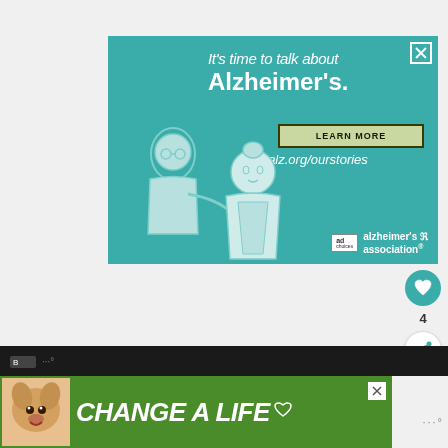[Figure (illustration): Alzheimer's Association advertisement banner on teal background. Shows illustrated elderly man and caregiver woman. Text reads 'It's time to talk about Alzheimer's.' with 'LEARN MORE' button and 'alz.org/ourstories' URL. alzheimer's association logo at bottom right with ad marker.]
[Figure (infographic): Bottom green banner advertisement. Shows a dog photo on left, large italic white bold text 'CHANGE A LIFE' in center, heart icon on right. Close (X) button at top right. Part of charity/animal welfare campaign.]